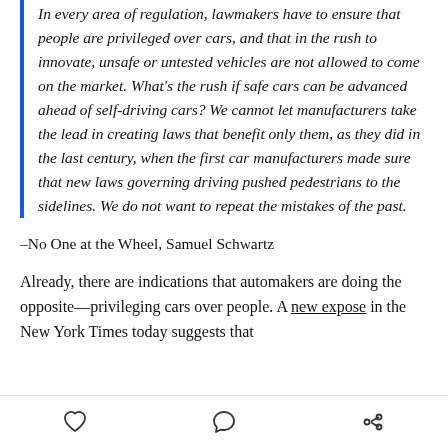In every area of regulation, lawmakers have to ensure that people are privileged over cars, and that in the rush to innovate, unsafe or untested vehicles are not allowed to come on the market. What's the rush if safe cars can be advanced ahead of self-driving cars? We cannot let manufacturers take the lead in creating laws that benefit only them, as they did in the last century, when the first car manufacturers made sure that new laws governing driving pushed pedestrians to the sidelines. We do not want to repeat the mistakes of the past.
–No One at the Wheel, Samuel Schwartz
Already, there are indications that automakers are doing the opposite—privileging cars over people. A new expose in the New York Times today suggests that
[heart icon] [comment icon] [share icon]